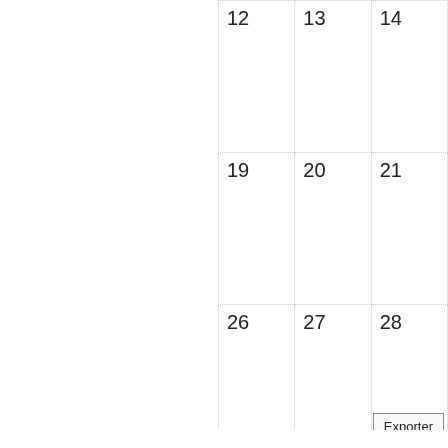|  |  |  |
| --- | --- | --- |
| 12 | 13 | 14 |
| 19 | 20 | 21 |
| 26 | 27 | 28 |
Événements globaux affichés (cacher)
Exporter